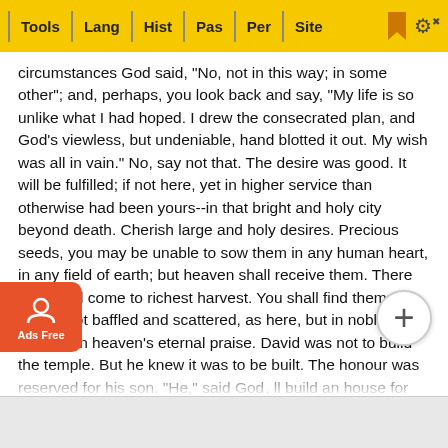Tools | Lang | Hist | Pas | Per | Site
circumstances God said, "No, not in this way; in some other"; and, perhaps, you look back and say, "My life is so unlike what I had hoped. I drew the consecrated plan, and God’s viewless, but undeniable, hand blotted it out. My wish was all in vain." No, say not that. The desire was good. It will be fulfilled; if not here, yet in higher service than otherwise had been yours--in that bright and holy city beyond death. Cherish large and holy desires. Precious seeds, you may be unable to sow them in any human heart, in any field of earth; but heaven shall receive them. There they shall come to richest harvest. You shall find them again--not baffled and scattered, as here, but in noblest service, in heaven’s eternal praise. David was not to build the temple. But he knew it was to be built. The honour was reserved for his son. “He,” said God, “ll build an house for My name.” If hindered from any undertaking ourselves let us remember that our prayers and effort may help another to do it. (G. T. Coster)